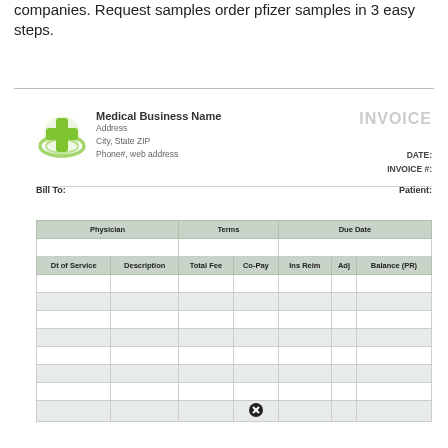companies. Request samples order pfizer samples in 3 easy steps.
[Figure (logo): Green medical cross logo with circular swirl design]
| Physician | Terms | Due Date |
| --- | --- | --- |
|  |  |  |
| Dt of Service | Description | Total Fee | Co-Pay | Ins Reim | Adj | Balance (PR) |
Medical Business Name
Address
City, State ZIP
Phone#, web address
INVOICE
DATE:
INVOICE #:
Bill To:
Patient: